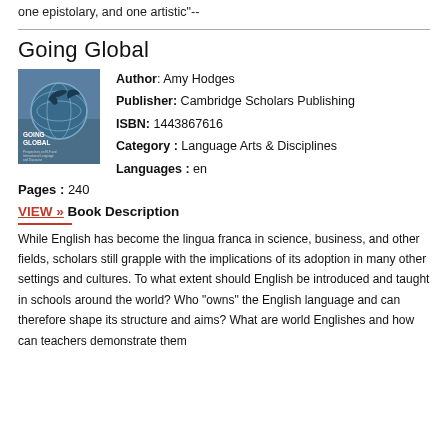one epistolary, and one artistic"--
Going Global
[Figure (illustration): Book cover of 'Going Global' showing a stylized figure with a globe, dark blue/teal color scheme]
Author: Amy Hodges
Publisher: Cambridge Scholars Publishing
ISBN: 1443867616
Category: Language Arts & Disciplines
Languages: en
Pages : 240
VIEW » Book Description
While English has become the lingua franca in science, business, and other fields, scholars still grapple with the implications of its adoption in many other settings and cultures. To what extent should English be introduced and taught in schools around the world? Who "owns" the English language and can therefore shape its structure and aims? What are world Englishes and how can teachers demonstrate them